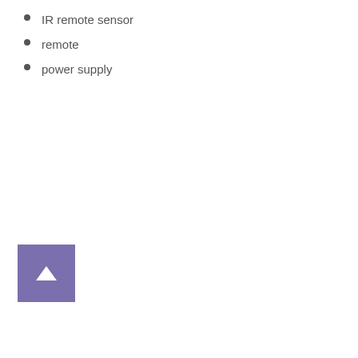IR remote sensor
remote
power supply
[Figure (other): Purple square button with a white upward-pointing triangle arrow in the center, resembling a scroll-to-top UI button.]